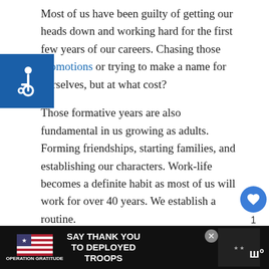Most of us have been guilty of getting our heads down and working hard for the first few years of our careers. Chasing those promotions or trying to make a name for ourselves, but at what cost?
Those formative years are also fundamental in us growing as adults. Forming friendships, starting families, and establishing our characters. Work-life becomes a definite habit as most of us will work for over 40 years. We establish a routine.
[Figure (other): Accessibility icon: white wheelchair symbol on blue square background]
[Figure (other): Like button (heart icon, blue circle) with count of 1, and share button below]
[Figure (other): What's Next panel with thumbnail and title 'Why Do I Feel Sleepy Arou...']
[Figure (other): Advertisement banner at bottom: Operation Gratitude 'SAY THANK YOU TO DEPLOYED TROOPS']